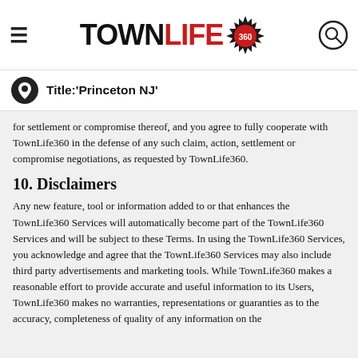TOWNLIFE360 — Title:'Princeton NJ'
for settlement or compromise thereof, and you agree to fully cooperate with TownLife360 in the defense of any such claim, action, settlement or compromise negotiations, as requested by TownLife360.
10. Disclaimers
Any new feature, tool or information added to or that enhances the TownLife360 Services will automatically become part of the TownLife360 Services and will be subject to these Terms. In using the TownLife360 Services, you acknowledge and agree that the TownLife360 Services may also include third party advertisements and marketing tools. While TownLife360 makes a reasonable effort to provide accurate and useful information to its Users, TownLife360 makes no warranties, representations or guaranties as to the accuracy, completeness of quality of any information on the